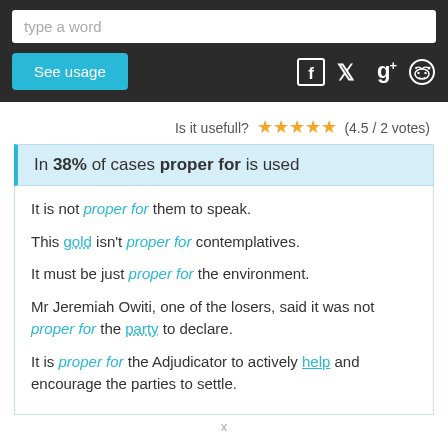[Figure (screenshot): Search bar with placeholder 'type a word']
[Figure (screenshot): See usage button and social media icons (Facebook, Twitter, Google+, Reddit)]
Is it usefull? ★★★★★ (4.5 / 2 votes)
In 38% of cases proper for is used
It is not proper for them to speak.
This gold isn't proper for contemplatives.
It must be just proper for the environment.
Mr Jeremiah Owiti, one of the losers, said it was not proper for the party to declare.
It is proper for the Adjudicator to actively help and encourage the parties to settle.